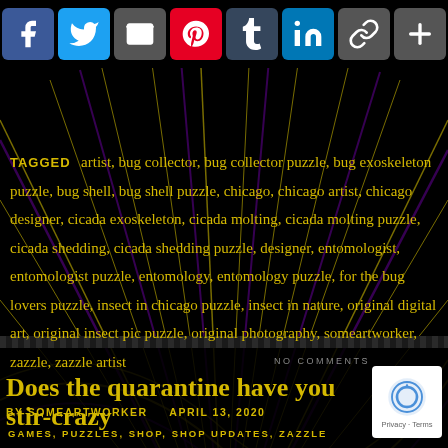[Figure (screenshot): Social media share buttons: Facebook (blue), Twitter (light blue), Email (dark blue), Pinterest (red), Tumblr (dark blue), LinkedIn (blue), Copy link (grey), More (grey)]
TAGGED  artist, bug collector, bug collector puzzle, bug exoskeleton puzzle, bug shell, bug shell puzzle, chicago, chicago artist, chicago designer, cicada exoskeleton, cicada molting, cicada molting puzzle, cicada shedding, cicada shedding puzzle, designer, entomologist, entomologist puzzle, entomology, entomology puzzle, for the bug lovers puzzle, insect in chicago puzzle, insect in nature, original digital art, original insect pic puzzle, original photography, someartworker, zazzle, zazzle artist
NO COMMENTS
Does the quarantine have you stir-crazy
BY SOMEARTWORKER     APRIL 13, 2020
GAMES, PUZZLES, SHOP, SHOP UPDATES, ZAZZLE